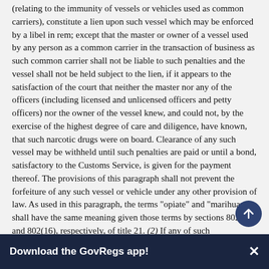(relating to the immunity of vessels or vehicles used as common carriers), constitute a lien upon such vessel which may be enforced by a libel in rem; except that the master or owner of a vessel used by any person as a common carrier in the transaction of business as such common carrier shall not be liable to such penalties and the vessel shall not be held subject to the lien, if it appears to the satisfaction of the court that neither the master nor any of the officers (including licensed and unlicensed officers and petty officers) nor the owner of the vessel knew, and could not, by the exercise of the highest degree of care and diligence, have known, that such narcotic drugs were on board. Clearance of any such vessel may be withheld until such penalties are paid or until a bond, satisfactory to the Customs Service, is given for the payment thereof. The provisions of this paragraph shall not prevent the forfeiture of any such vessel or vehicle under any other provision of law. As used in this paragraph, the terms "opiate" and "marihuana" shall have the same meaning given those terms by sections 802(18) and 802(16), respectively, of title 21. (2)  If any of such merchandise (sea stores excepted), the
Download the GovRegs app!